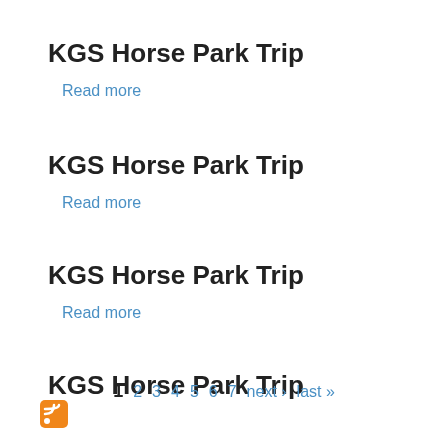KGS Horse Park Trip
Read more
KGS Horse Park Trip
Read more
KGS Horse Park Trip
Read more
KGS Horse Park Trip
Read more
1  2  3  4  5  6  7  next ›  last »